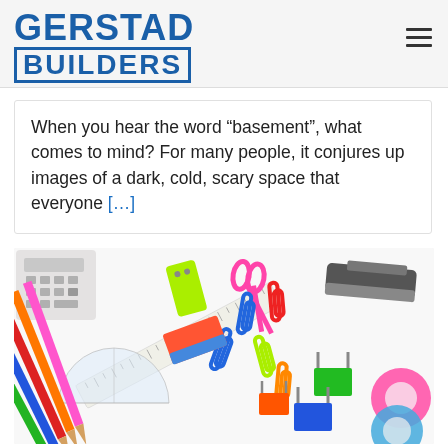GERSTAD BUILDERS
When you hear the word “basement”, what comes to mind? For many people, it conjures up images of a dark, cold, scary space that everyone […]
[Figure (photo): Colorful school/office stationery items scattered on a white surface: colored pencils, paper clips, erasers, binder clips, a stapler, tape, ruler, protractor, and a calculator.]